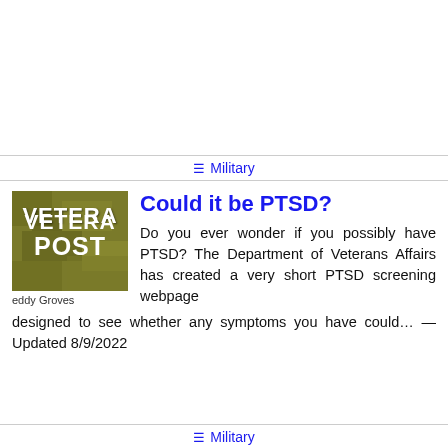Military
[Figure (logo): Veterans Post logo — olive/camouflage green background with white bold text reading VETERAN POST. Below the logo: 'eddy Groves']
Could it be PTSD?
Do you ever wonder if you possibly have PTSD? The Department of Veterans Affairs has created a very short PTSD screening webpage designed to see whether any symptoms you have could… — Updated 8/9/2022
Military